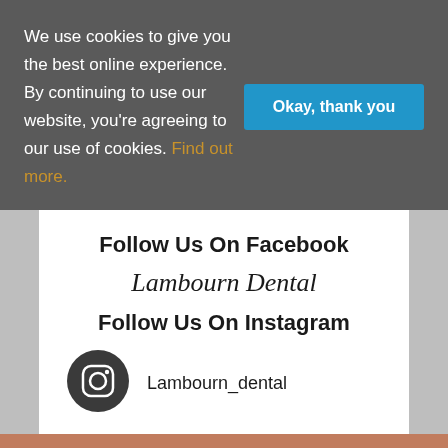We use cookies to give you the best online experience. By continuing to use our website, you're agreeing to our use of cookies. Find out more.
Okay, thank you
Follow Us On Facebook
Lambourn Dental
Follow Us On Instagram
Lambourn_dental